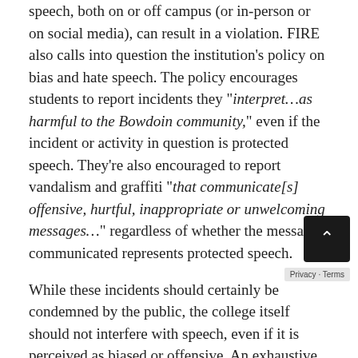speech, both on or off campus (or in-person or on social media), can result in a violation. FIRE also calls into question the institution's policy on bias and hate speech. The policy encourages students to report incidents they "interpret…as harmful to the Bowdoin community," even if the incident or activity in question is protected speech. They're also encouraged to report vandalism and graffiti "that communicate[s] offensive, hurtful, inappropriate or unwelcoming messages..." regardless of whether the message communicated represents protected speech.
While these incidents should certainly be condemned by the public, the college itself should not interfere with speech, even if it is perceived as biased or offensive. An exhaustive list of the flaws within Bowdoin College's speech-related policies and...